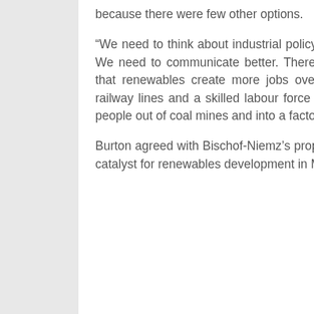because there were few other options.
“We need to think about industrial policy, which government has ignored. We need to communicate better. There are still people who don’t know that renewables create more jobs overall than coal. There are roads, railway lines and a skilled labour force in Mpumalanga. We need to get people out of coal mines and into a factory,” Burton said.
Burton agreed with Bischof-Niemz’s proposal to get government to be the catalyst for renewables development in Mpumalanga.